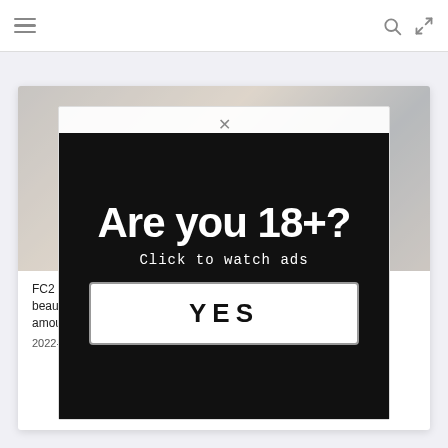Navigation bar with hamburger menu, search icon, and expand icon
[Figure (screenshot): Blurred article hero image — indistinct room/interior photo]
FC2... beautiful... amount...
2022-08-01
[Figure (infographic): Age verification modal overlay with black background. Text: 'Are you 18+?' and 'Click to watch ads' with a YES button.]